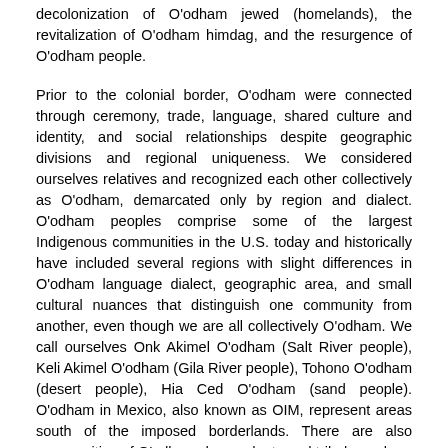decolonization of O'odham jewed (homelands), the revitalization of O'odham himdag, and the resurgence of O'odham people.
Prior to the colonial border, O'odham were connected through ceremony, trade, language, shared culture and identity, and social relationships despite geographic divisions and regional uniqueness. We considered ourselves relatives and recognized each other collectively as O'odham, demarcated only by region and dialect. O'odham peoples comprise some of the largest Indigenous communities in the U.S. today and historically have included several regions with slight differences in O'odham language dialect, geographic area, and small cultural nuances that distinguish one community from another, even though we are all collectively O'odham. We call ourselves Onk Akimel O'odham (Salt River people), Keli Akimel O'odham (Gila River people), Tohono O'odham (desert people), Hia Ced O'odham (sand people). O'odham in Mexico, also known as OIM, represent areas south of the imposed borderlands. There are also communities of O'odham descendants and tribal members in cities like Yuma, Arizona and Los Angeles, California who have lived there for generations. We are all descended from O'odham Huhugam, or ancestors. Our traditional clan systems are inclusive of mixed O'odham identities and we embrace the diversity of our people who are also of mixed